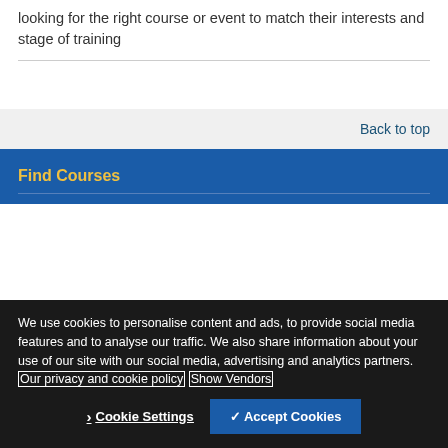looking for the right course or event to match their interests and stage of training
Back to top
Find Courses
We use cookies to personalise content and ads, to provide social media features and to analyse our traffic. We also share information about your use of our site with our social media, advertising and analytics partners. Our privacy and cookie policy Show Vendors
Cookie Settings   ✓ Accept Cookies